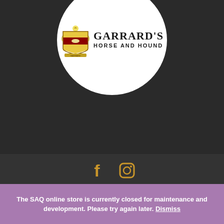[Figure (logo): Garrard's Horse and Hound logo: a heraldic crest/coat of arms on the left, with bold serif text 'GARRARD'S' on top and sans-serif 'HORSE AND HOUND' below, all inside a white circle on a dark background.]
[Figure (other): Social media icons: Facebook 'f' and Instagram camera icon, both in gold/amber color, centered on a dark grey background.]
Designed by daZoop DESIGNS © 2011 – 2022 | Click to read our Privacy Policy here.
The SAQ online store is currently closed for maintenance and development. Please try again later. Dismiss